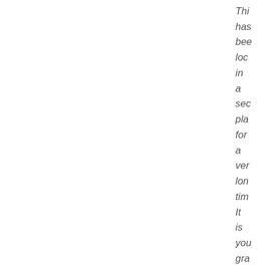This has been located in a secure place for a very long time. It is your grandfather when he was a young man at